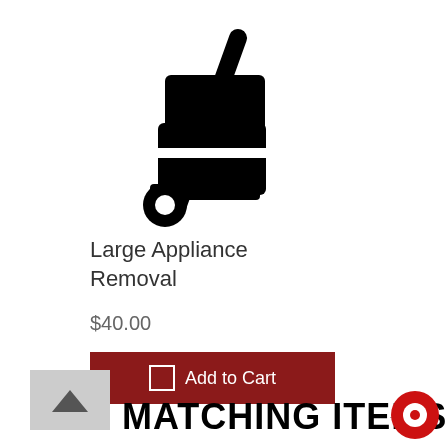[Figure (illustration): Hand truck / dolly icon with two stacked boxes, black silhouette]
Large Appliance Removal
$40.00
Add to Cart
MATCHING ITEMS